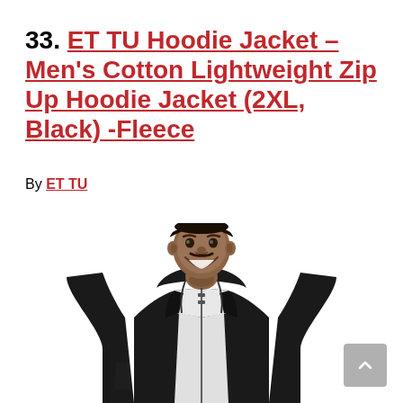33. ET TU Hoodie Jacket – Men's Cotton Lightweight Zip Up Hoodie Jacket (2XL, Black) -Fleece
By ET TU
[Figure (photo): A smiling young man wearing a black zip-up hoodie jacket over a white v-neck shirt, photographed against a white background.]